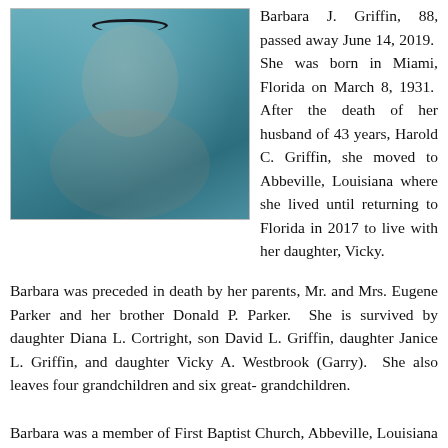[Figure (photo): Portrait photo of Barbara J. Griffin, an elderly woman wearing a teal/turquoise top and a dark necklace, photographed against a light background.]
Barbara J. Griffin, 88, passed away June 14, 2019. She was born in Miami, Florida on March 8, 1931. After the death of her husband of 43 years, Harold C. Griffin, she moved to Abbeville, Louisiana where she lived until returning to Florida in 2017 to live with her daughter, Vicky.
Barbara was preceded in death by her parents, Mr. and Mrs. Eugene Parker and her brother Donald P. Parker. She is survived by daughter Diana L. Cortright, son David L. Griffin, daughter Janice L. Griffin, and daughter Vicky A. Westbrook (Garry). She also leaves four grandchildren and six great- grandchildren.
Barbara was a member of First Baptist Church, Abbeville, Louisiana and the Abbeville General Hospital Volunteers